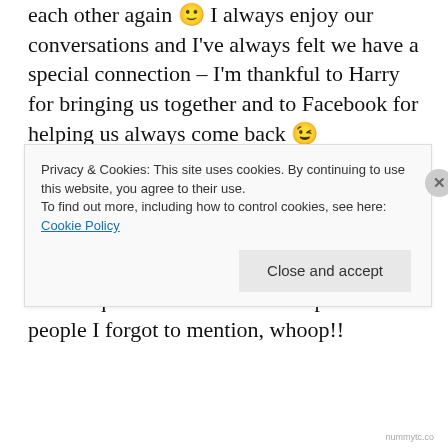each other again 🙂 I always enjoy our conversations and I've always felt we have a special connection – I'm thankful to Harry for bringing us together and to Facebook for helping us always come back 😉
**UPDATE!! November 26th @ 933AM:
[Figure (other): WordPress advertisement banner: 'Your site. Built by us. Built for you.' with Built By WordPress logo on dark navy background]
2 more quick shout outs to a couple more people I forgot to mention, whoop!!
Privacy & Cookies: This site uses cookies. By continuing to use this website, you agree to their use. To find out more, including how to control cookies, see here: Cookie Policy
nummytc.co